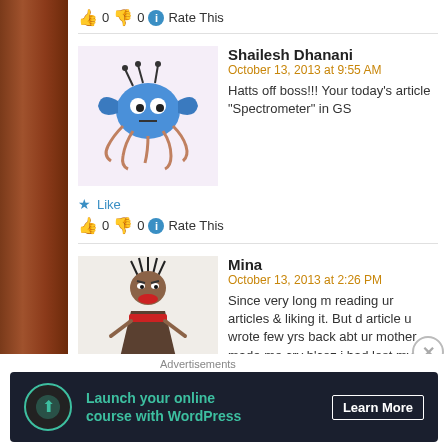👍 0 👎 0 ℹ Rate This
Shailesh Dhanani
October 13, 2013 at 9:55 AM
Hatts off boss!!! Your today's article "Spectrometer" in GS
★ Like
👍 0 👎 0 ℹ Rate This
Mina
October 13, 2013 at 2:26 PM
Since very long m reading ur articles & liking it. But d article u wrote few yrs back abt ur mother made me cry b'coz i had lost my mother sometime back. It was like मेरी Feelings को शब्दों में लिखा था .
God bless u & belated happybday
Advertisements
Launch your online course with WordPress    Learn More